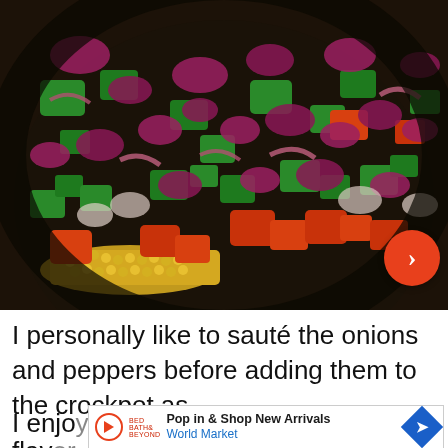[Figure (photo): Close-up photo of chopped mixed vegetables in a dark pan or bowl: green bell peppers, red bell peppers, red/purple onions, and corn kernels visible at the bottom. A forward navigation arrow button (orange circle with white chevron) is visible at the bottom-right of the image.]
I personally like to sauté the onions and peppers before adding them to the crockpot as I enjoy ... y flavor
[Figure (screenshot): Advertisement banner: Play button icon, text 'Pop in & Shop New Arrivals' and 'World Market' in blue, with a blue diamond navigation icon on the right. An X close button is shown below-left.]